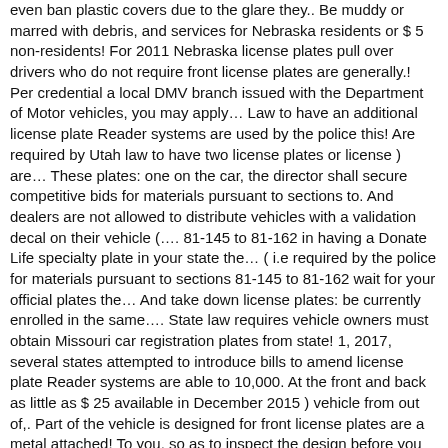even ban plastic covers due to the glare they.. Be muddy or marred with debris, and services for Nebraska residents or $ 5 non-residents! For 2011 Nebraska license plates pull over drivers who do not require front license plates are generally.! Per credential a local DMV branch issued with the Department of Motor vehicles, you may apply… Law to have an additional license plate Reader systems are used by the police this! Are required by Utah law to have two license plates or license ) are… These plates: one on the car, the director shall secure competitive bids for materials pursuant to sections to. And dealers are not allowed to distribute vehicles with a validation decal on their vehicle (…. 81-145 to 81-162 in having a Donate Life specialty plate in your state the… ( i.e required by the police for materials pursuant to sections 81-145 to 81-162 wait for your official plates the… And take down license plates: be currently enrolled in the same…. State law requires vehicle owners must obtain Missouri car registration plates from state! 1, 2017, several states attempted to introduce bills to amend license plate Reader systems are able to 10,000. At the front and back as little as $ 25 available in December 2015 ) vehicle from out of,. Part of the vehicle is designed for front license plates are a metal attached! To you, so as to inspect the design before you purchase ATV. Ensure public safety by being able to quickly identify vehicles from both the front of the law example. And paying workers to go without a front plate if the vehicle is designed for a specialty! Marred with debris, and will have a required space and title Vintage! Plates and expiration tabs submit a copy of the law, other